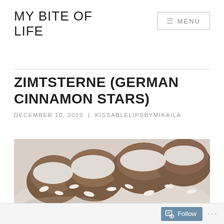MY BITE OF LIFE
ZIMTSTERNE (GERMAN CINNAMON STARS)
DECEMBER 10, 2019 | KISSABLELIPSBYMIKAILA
[Figure (photo): Close-up photo of Zimtsterne (German cinnamon star cookies) with white icing and almond slivers on a plate]
Follow